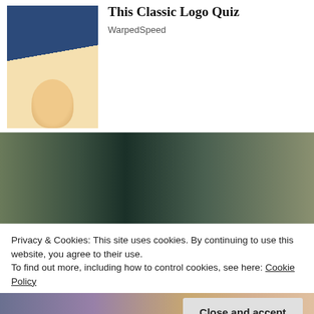[Figure (photo): Thumbnail image of a historical figure in colonial attire with white wig]
This Classic Logo Quiz
WarpedSpeed
[Figure (photo): Thumbnail image of a young blonde toddler girl in a teal shirt]
[Photos] Toddler Missing For 2 Days: Man Opens Door, Realizes Pitbull Had Her
12Up
[Figure (photo): Wide photo showing a man with sunglasses sitting in bleachers/stadium seating]
Privacy & Cookies: This site uses cookies. By continuing to use this website, you agree to their use.
To find out more, including how to control cookies, see here: Cookie Policy
Close and accept